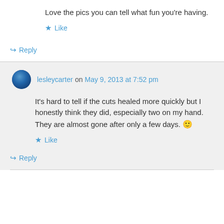Love the pics you can tell what fun you're having.
Like
Reply
lesleycarter on May 9, 2013 at 7:52 pm
It's hard to tell if the cuts healed more quickly but I honestly think they did, especially two on my hand. They are almost gone after only a few days. 🙂
Like
Reply